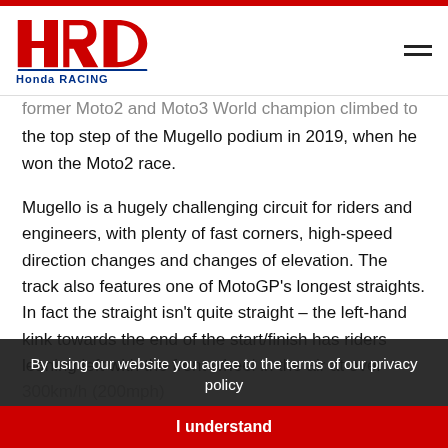HRC Honda Racing
former Moto2 and Moto3 World champion climbed to the top step of the Mugello podium in 2019, when he won the Moto2 race.
Mugello is a hugely challenging circuit for riders and engineers, with plenty of fast corners, high-speed direction changes and changes of elevation. The track also features one of MotoGP's longest straights. In fact the straight isn't quite straight – the left-hand kink towards the end of the start/finish has riders leaning left with the front wheel in the air at over 300km/h (200mph).
Honda has achieved some remarkable premier-class
By using our website you agree to the terms of our privacy policy
I understand